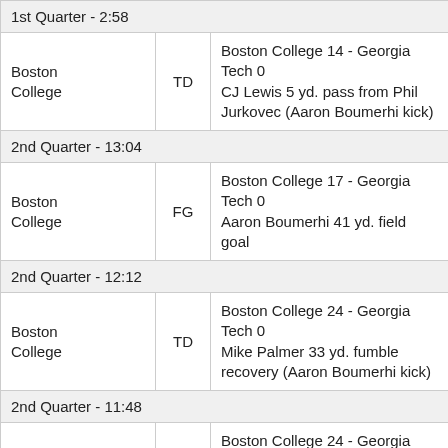| 1st Quarter - 2:58 |  |  |
| Boston College | TD | Boston College 14 - Georgia Tech 0
CJ Lewis 5 yd. pass from Phil Jurkovec (Aaron Boumerhi kick) |
| 2nd Quarter - 13:04 |  |  |
| Boston College | FG | Boston College 17 - Georgia Tech 0
Aaron Boumerhi 41 yd. field goal |
| 2nd Quarter - 12:12 |  |  |
| Boston College | TD | Boston College 24 - Georgia Tech 0
Mike Palmer 33 yd. fumble recovery (Aaron Boumerhi kick) |
| 2nd Quarter - 11:48 |  |  |
| Georgia Tech | TD | Boston College 24 - Georgia Tech 7
Ahmarean Brown 32 yd. pass from Jeff Sims (Gavin Stewart kick) |
| 2nd Quarter - 9:44 |  |  |
| Boston College | TD | Boston College 31 - Georgia Tech 7
Zay Flowers 22 yd. run (Aaron Boumerhi kick) |